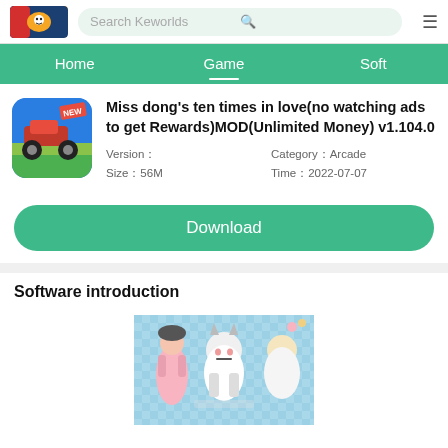Search Keworlds
Home | Game | Soft
Miss dong's ten times in love(no watching ads to get Rewards)MOD(Unlimited Money) v1.104.0
Version：　　　　Category：Arcade
Size：56M　　　Time：2022-07-07
Download
Software introduction
[Figure (screenshot): Anime-style game screenshot showing character costumes on a blue checkered background]